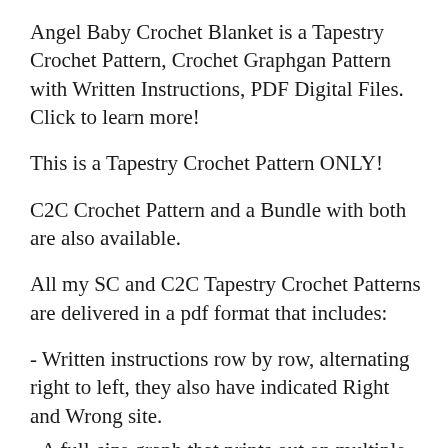Angel Baby Crochet Blanket is a Tapestry Crochet Pattern, Crochet Graphgan Pattern with Written Instructions, PDF Digital Files. Click to learn more!
This is a Tapestry Crochet Pattern ONLY!
C2C Crochet Pattern and a Bundle with both are also available.
All my SC and C2C Tapestry Crochet Patterns are delivered in a pdf format that includes:
- Written instructions row by row, alternating right to left, they also have indicated Right and Wrong site.
- A full-size graph that prints out on multiple pages
- Graph scaled down to print on one page
- Basic instructions for the SC Graph and Instructions on how to do Tapestry Crochet (there are no